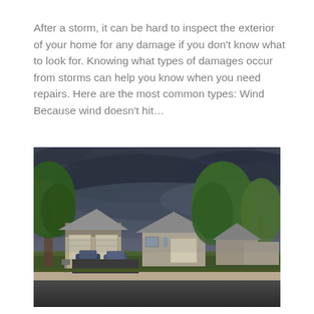After a storm, it can be hard to inspect the exterior of your home for any damage if you don't know what to look for. Knowing what types of damages occur from storms can help you know when you need repairs. Here are the most common types: Wind Because wind doesn't hit…
[Figure (photo): A suburban neighborhood street scene under a dark, stormy sky. Houses with garages and cars in driveways are visible, flanked by large green trees. The sky is dramatically overcast with dark storm clouds.]